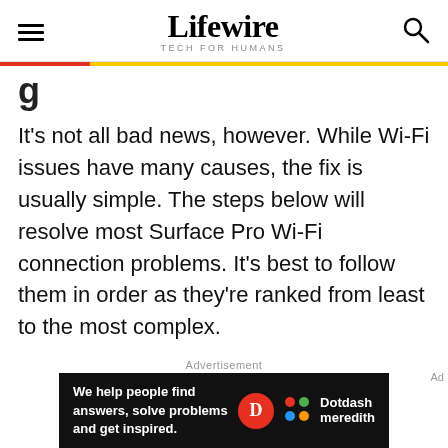Lifewire TECH FOR HUMANS
It’s not all bad news, however. While Wi-Fi issues have many causes, the fix is usually simple. The steps below will resolve most Surface Pro Wi-Fi connection problems. It’s best to follow them in order as they’re ranked from least to the most complex.
Advertisement
[Figure (other): Dotdash Meredith advertisement banner: We help people find answers, solve problems and get inspired.]